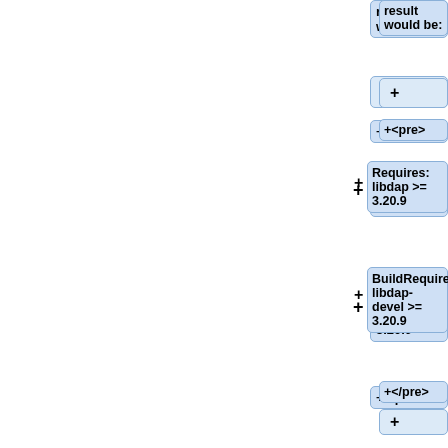[Figure (other): Diff view showing code/spec changes with light blue boxes and plus signs on the right side of a two-panel layout. Left panel is white with a vertical blue line. Right panel shows multiple diff addition boxes containing: 'result would be:', '+', '+<pre>', 'Requires: libdap >= 3.20.9', 'BuildRequires: libdap-devel >= 3.20.9', '+</pre>', '+', '("These lines may not be adjacent to']
result would be:
+
+<pre>
Requires: libdap >= 3.20.9
BuildRequires: libdap-devel >= 3.20.9
+</pre>
+
("These lines may not be adjacent to